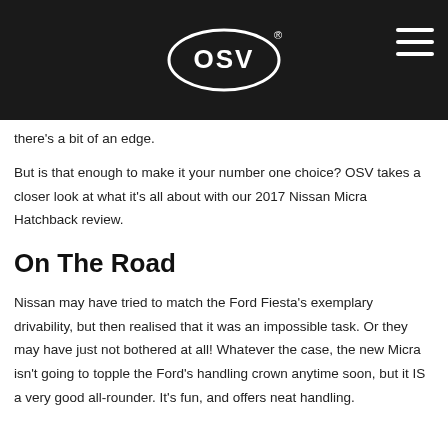OSV
there's a bit of an edge.
But is that enough to make it your number one choice? OSV takes a closer look at what it's all about with our 2017 Nissan Micra Hatchback review.
On The Road
Nissan may have tried to match the Ford Fiesta's exemplary drivability, but then realised that it was an impossible task. Or they may have just not bothered at all! Whatever the case, the new Micra isn't going to topple the Ford's handling crown anytime soon, but it IS a very good all-rounder. It's fun, and offers neat handling.